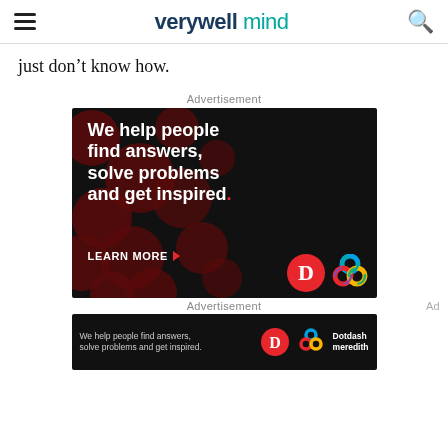verywell mind
just don’t know how.
Advertisement
[Figure (infographic): Dotdash Meredith advertisement on black background with dark red circles: 'We help people find answers, solve problems and get inspired.' with LEARN MORE button, D logo and Dotdash Meredith logo]
Advertisement
[Figure (infographic): Dotdash Meredith horizontal banner ad on black background: 'We help people find answers, solve problems and get inspired.' with D logo and Dotdash meredith text]